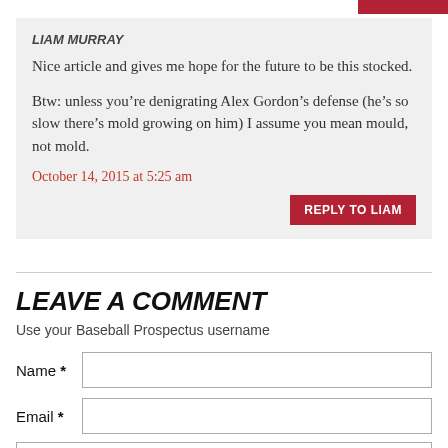LIAM MURRAY
Nice article and gives me hope for the future to be this stocked.
Btw: unless you’re denigrating Alex Gordon’s defense (he’s so slow there’s mold growing on him) I assume you mean mould, not mold.
October 14, 2015 at 5:25 am
REPLY TO LIAM
LEAVE A COMMENT
Use your Baseball Prospectus username
Name *
Email *